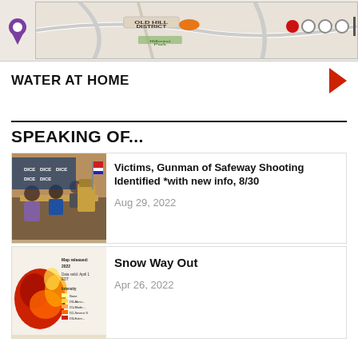[Figure (map): Partial map banner showing Old Hill District with location pin and colored circles]
WATER AT HOME
SPEAKING OF...
[Figure (photo): Meeting room photo with people seated and a podium with an American flag]
Victims, Gunman of Safeway Shooting Identified *with new info, 8/30
Aug 29, 2022
[Figure (map): Drought intensity map of Oregon, Map released 2022, Data valid April 1 EDT, showing intensity from None to D3+]
Snow Way Out
Apr 26, 2022